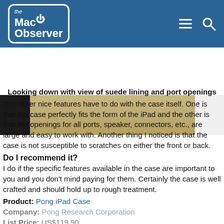the Mac Observer
[Figure (photo): Close-up photo of an iPad case showing suede lining and port openings, tan/beige color with dark and light edges]
Looking down with view of suede lining and port openings
Two other nice features have to do with the case itself. One is that the case perfectly fits the form of the iPad and the other is that the openings for all ports, speaker, connectors, etc., are large and easy to work with. Another thing I noticed is that the case is not susceptible to scratches on either the front or back.
Do I recommend it?
I do if the specific features available in the case are important to you and you don’t mind paying for them. Certainly the case is well crafted and should hold up to rough treatment.
Product: Pong iPad Case
Company: Pong Research Corporation
List Price: US$119.90
Rating: